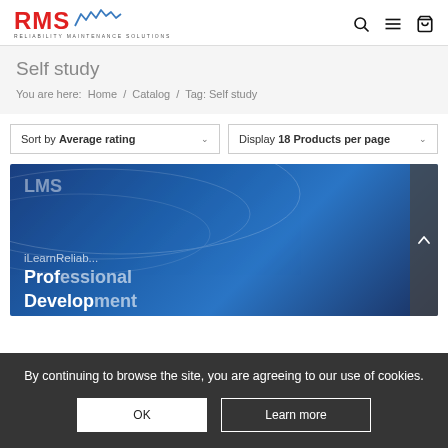RMS - RELIABILITY MAINTENANCE SOLUTIONS
Self study
You are here:  Home / Catalog / Tag: Self study
Sort by Average rating   Display 18 Products per page
[Figure (screenshot): Blue product banner with LMS iLearnReliab... Professional Development text overlay on dark blue background]
By continuing to browse the site, you are agreeing to our use of cookies.
OK   Learn more